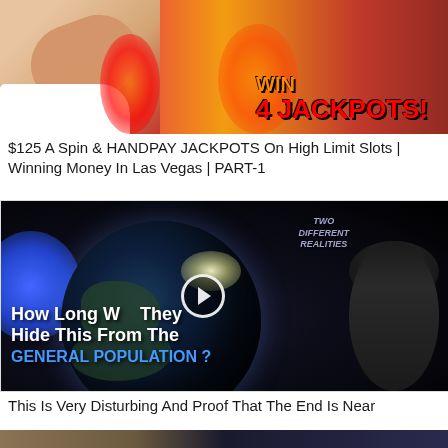[Figure (screenshot): Thumbnail image showing a man in a white shirt with fire effects and text '4 JACKPOTS!' in red on a fiery background]
$125 A Spin & HANDPAY JACKPOTS On High Limit Slots | Winning Money In Las Vegas | PART-1
[Figure (screenshot): Video thumbnail showing Earth from space with a hooded figure on the right. Text overlay reads 'How Long Will They Hide This From The GENERAL POPULATION ?' with a play button in the center. Upper right corner has text 'TWO DIFFERENT REALITIES']
This Is Very Disturbing And Proof That The End Is Near
[Figure (screenshot): Partial thumbnail showing a stone/brick background with dark blue section, partially cut off at bottom of page]